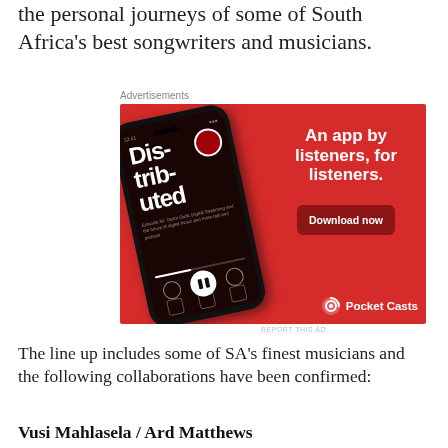the personal journeys of some of South Africa's best songwriters and musicians.
[Figure (infographic): Pocket Casts advertisement on red background featuring a smartphone displaying a podcast app with text 'Dis-trib-uted'. Text reads 'An app by listeners, for listeners.' with a 'Download now' button and Pocket Casts logo.]
REPORT THIS AD
The line up includes some of SA's finest musicians and the following collaborations have been confirmed:
Vusi Mahlasela / Ard Matthews